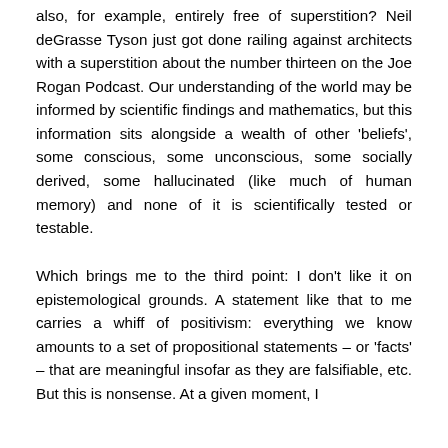also, for example, entirely free of superstition? Neil deGrasse Tyson just got done railing against architects with a superstition about the number thirteen on the Joe Rogan Podcast. Our understanding of the world may be informed by scientific findings and mathematics, but this information sits alongside a wealth of other 'beliefs', some conscious, some unconscious, some socially derived, some hallucinated (like much of human memory) and none of it is scientifically tested or testable.
Which brings me to the third point: I don't like it on epistemological grounds. A statement like that to me carries a whiff of positivism: everything we know amounts to a set of propositional statements – or 'facts' – that are meaningful insofar as they are falsifiable, etc. But this is nonsense. At a given moment, I